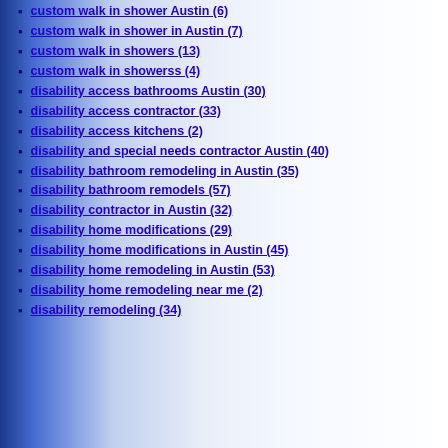custom walk in shower Austin (6)
custom walk in shower in Austin (7)
custom walk in showers (13)
custom walk in showerss (4)
disability access bathrooms Austin (30)
disability access contractor (33)
disability access kitchens (2)
disability and special needs contractor Austin (40)
disability bathroom remodeling in Austin (35)
disability bathroom remodels (57)
disability contractor in Austin (32)
disability home modifications (29)
disability home modifications in Austin (45)
disability home remodeling in Austin (53)
disability home remodeling near me (2)
disability remodeling (34)